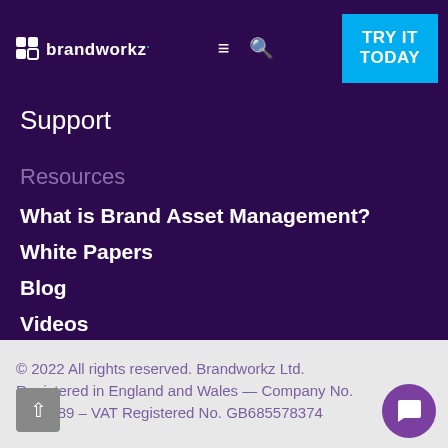brandworkz. [menu] [search] TRY IT TODAY
Support
Resources
What is Brand Asset Management?
White Papers
Blog
Videos
© 2022 All rights reserved. Brandworkz Ltd. Registered in England and Wales — Company No. 3375289 – VAT Registered No. GB685578374